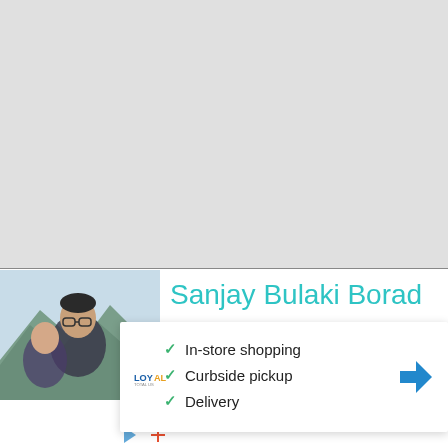[Figure (photo): Large light gray background area occupying the top ~60% of the page, representing a webpage background or header area.]
[Figure (photo): Profile photo of a man with glasses outdoors with mountains in the background.]
Sanjay Bulaki Borad
[Figure (infographic): Popup card overlay showing a Loyal logo, navigation arrow icon, and a list: In-store shopping, Curbside pickup, Delivery with checkmarks.]
In-store shopping
Curbside pickup
Delivery
er &